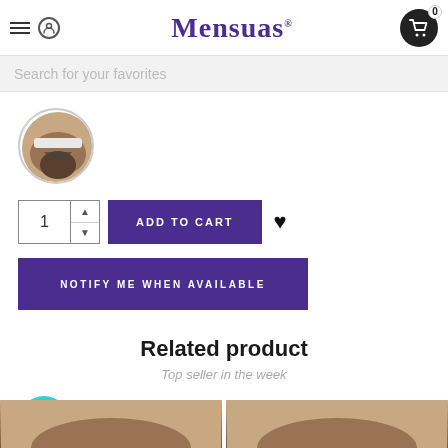Mensuas
Search for your favorites
[Figure (photo): Circular thumbnail image of men's underwear product]
1 ADD TO CART ♥
NOTIFY ME WHEN AVAILABLE
Related product
Top seller in the week
[Figure (photo): Two partial product thumbnail images at bottom of page]